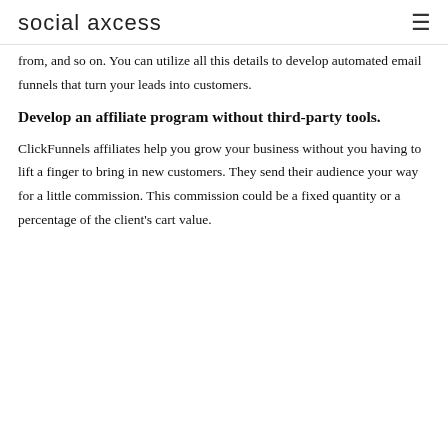social axcess
from, and so on. You can utilize all this details to develop automated email funnels that turn your leads into customers.
Develop an affiliate program without third-party tools.
ClickFunnels affiliates help you grow your business without you having to lift a finger to bring in new customers. They send their audience your way for a little commission. This commission could be a fixed quantity or a percentage of the client's cart value.